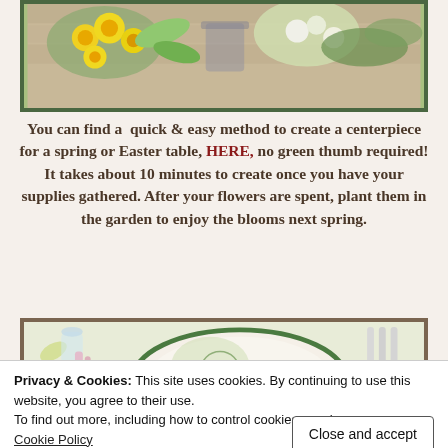[Figure (photo): Photo of yellow daffodils and white/green floral arrangement on a wooden surface, framed with dark green border]
You can find a quick & easy method to create a centerpiece for a spring or Easter table, HERE, no green thumb required! It takes about 10 minutes to create once you have your supplies gathered. After your flowers are spent, plant them in the garden to enjoy the blooms next spring.
[Figure (photo): Photo of a spring/Easter table setting with green and white china plates, crystal glassware, and silverware on a floral tablecloth]
Privacy & Cookies: This site uses cookies. By continuing to use this website, you agree to their use.
To find out more, including how to control cookies, see here:
Cookie Policy
[Figure (photo): Partial photo at bottom of page showing a spring table setting]